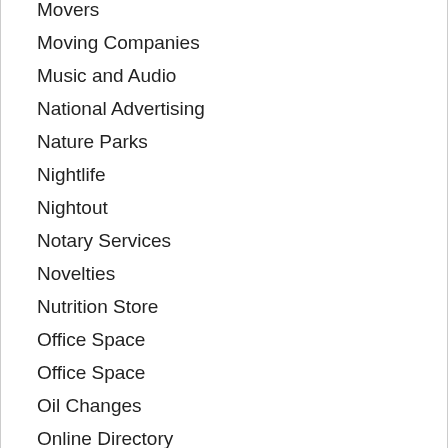Movers
Moving Companies
Music and Audio
National Advertising
Nature Parks
Nightlife
Nightout
Notary Services
Novelties
Nutrition Store
Office Space
Office Space
Oil Changes
Online Directory
Opportunities